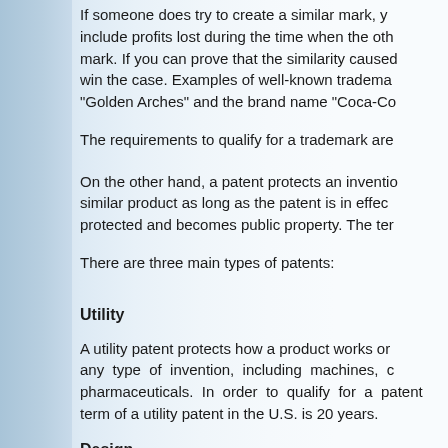If someone does try to create a similar mark, you can include profits lost during the time when the other person used the mark. If you can prove that the similarity caused consumer confusion, you win the case. Examples of well-known trademarks include McDonald's "Golden Arches" and the brand name "Coca-Cola".
The requirements to qualify for a trademark are
On the other hand, a patent protects an invention. No one can make a similar product as long as the patent is in effect. After that, it is no longer protected and becomes public property. The term
There are three main types of patents:
Utility
A utility patent protects how a product works or is used. It can cover any type of invention, including machines, chemical processes, and pharmaceuticals. In order to qualify for a patent, the invention must. The term of a utility patent in the U.S. is 20 years.
Design